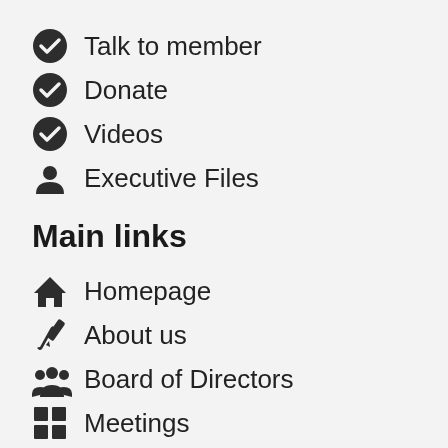Talk to member
Donate
Videos
Executive Files
Main links
Homepage
About us
Board of Directors
Meetings
FAQ